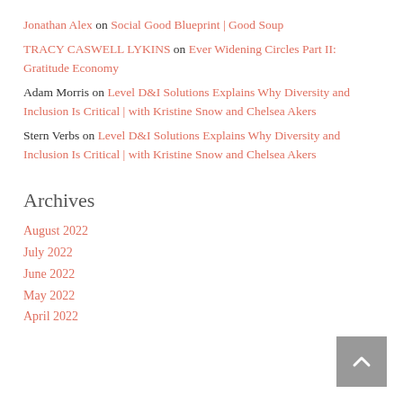Jonathan Alex on Social Good Blueprint | Good Soup
TRACY CASWELL LYKINS on Ever Widening Circles Part II: Gratitude Economy
Adam Morris on Level D&I Solutions Explains Why Diversity and Inclusion Is Critical | with Kristine Snow and Chelsea Akers
Stern Verbs on Level D&I Solutions Explains Why Diversity and Inclusion Is Critical | with Kristine Snow and Chelsea Akers
Archives
August 2022
July 2022
June 2022
May 2022
April 2022